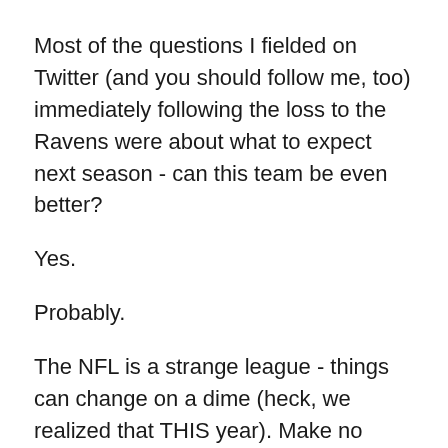Most of the questions I fielded on Twitter (and you should follow me, too) immediately following the loss to the Ravens were about what to expect next season - can this team be even better?
Yes.
Probably.
The NFL is a strange league - things can change on a dime (heck, we realized that THIS year). Make no mistake, 11-5 in the NFL is no cake walk - and I don't know that this team can improve on their record next season. Going 12-4 or better doesn't happen all that often (remember even Peyton Manning went 10-6 and won the division) and I think it is setting some high expectations to ask them to have a better record.